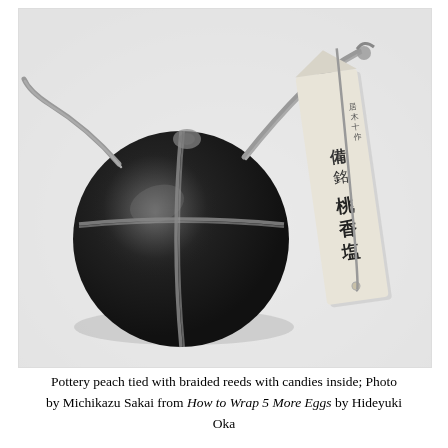[Figure (photo): Black and white photograph of a round dark pottery peach tied with braided rope/reeds, accompanied by a paper tag with Japanese calligraphy writing. The pottery object is spherical and dark-glazed, with the braided cord wrapped around it. A long narrow paper label with Japanese characters stands next to it.]
Pottery peach tied with braided reeds with candies inside; Photo by Michikazu Sakai from How to Wrap 5 More Eggs by Hideyuki Oka